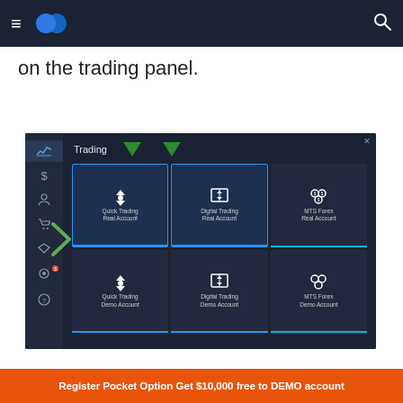[Figure (screenshot): Top navigation bar of Pocket Option website with hamburger menu, logo (two overlapping blue circles), and search icon on dark navy background]
on the trading panel.
[Figure (screenshot): Pocket Option trading platform UI showing a dark-themed Trading popup panel with 6 account type cards arranged in a 3x2 grid: Quick Trading Real Account, Digital Trading Real Account, MTS Forex Real Account (top row), Quick Trading Demo Account, Digital Trading Demo Account, MTS Forex Demo Account (bottom row). Left sidebar shows navigation icons. Two green chevron/arrow indicators at top of panel.]
Register Pocket Option Get $10,000 free to DEMO account